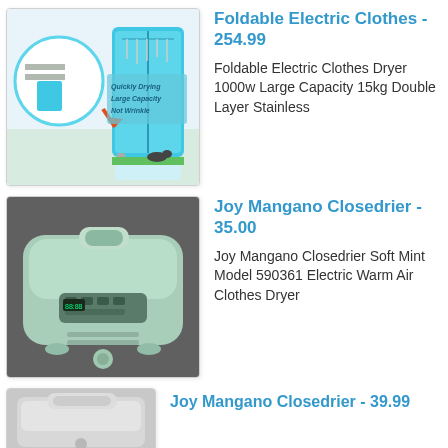[Figure (photo): Foldable electric clothes dryer product image showing a tall blue cabinet-style dryer with a circular inset showing detail, with text 'Quickly Drying Large Capacity Not Wrinkle']
Foldable Electric Clothes - 254.99
Foldable Electric Clothes Dryer 1000w Large Capacity 15kg Double Layer Stainless
[Figure (photo): Joy Mangano Closedrier product image showing a mint green/light green compact electric clothes dryer appliance viewed from above]
Joy Mangano Closedrier - 35.00
Joy Mangano Closedrier Soft Mint Model 590361 Electric Warm Air Clothes Dryer
[Figure (photo): Partial view of Joy Mangano Closedrier product image in gray/white tones]
Joy Mangano Closedrier - 39.99